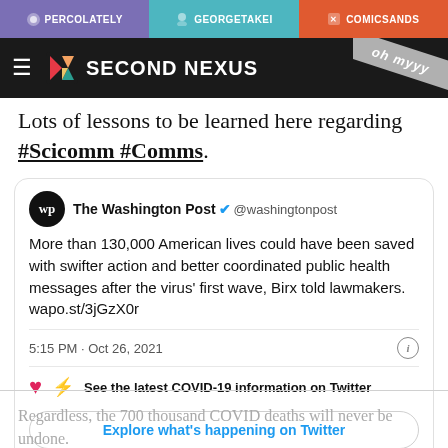PERCOLATELY | GEORGETAKEI | COMICSANDS
[Figure (logo): Second Nexus website header with logo and hamburger menu on dark background]
Lots of lessons to be learned here regarding #Scicomm #Comms.
[Figure (screenshot): Embedded tweet from The Washington Post (@washingtonpost): More than 130,000 American lives could have been saved with swifter action and better coordinated public health messages after the virus' first wave, Birx told lawmakers. wapo.st/3jGzX0r. Posted 5:15 PM · Oct 26, 2021. With COVID-19 information link and Explore what's happening on Twitter button.]
Regardless, the 700 thousand COVID deaths will never be undone.